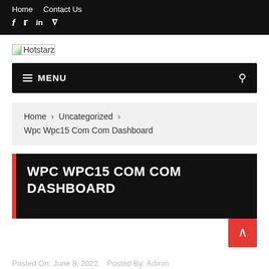Home  Contact Us
[Figure (logo): Hotstarz logo placeholder image]
≡ MENU
Home › Uncategorized › Wpc Wpc15 Com Com Dashboard
WPC WPC15 COM COM DASHBOARD
Posted On: June 8, 2022   Posted By: Admin